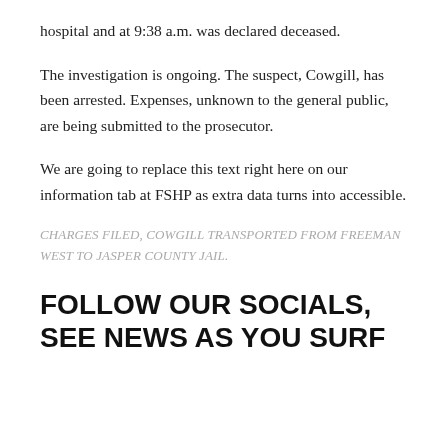hospital and at 9:38 a.m. was declared deceased.
The investigation is ongoing. The suspect, Cowgill, has been arrested. Expenses, unknown to the general public, are being submitted to the prosecutor.
We are going to replace this text right here on our information tab at FSHP as extra data turns into accessible.
CHARGES FILED, COWGILL TRANSPORTED FROM FREEMAN WEST TO JASPER COUNTY JAIL.
FOLLOW OUR SOCIALS, SEE NEWS AS YOU SURF